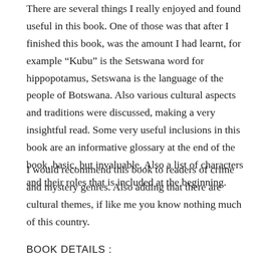There are several things I really enjoyed and found useful in this book. One of those was that after I finished this book, was the amount I had learnt, for example “Kubu” is the Setswana word for hippopotamus, Setswana is the language of the people of Botswana. Also various cultural aspects and traditions were discussed, making a very insightful read. Some very useful inclusions in this book are an informative glossary at the end of the book, basic, but invaluable. Also a list of characters and their roles that is included at the beginning.
I would recommend this book to readers of crime and mystery genres. Also adding that there are cultural themes, if like me you know nothing much of this country.
BOOK DETAILS :